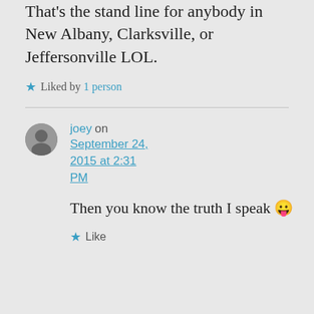That's the stand line for anybody in New Albany, Clarksville, or Jeffersonville LOL.
Liked by 1 person
joey on September 24, 2015 at 2:31 PM
Then you know the truth I speak 😛
Like